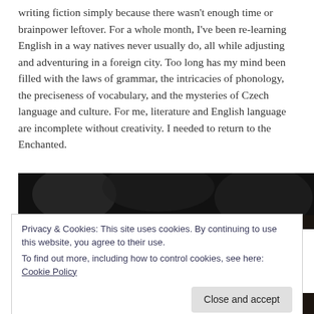writing fiction simply because there wasn't enough time or brainpower leftover. For a whole month, I've been re-learning English in a way natives never usually do, all while adjusting and adventuring in a foreign city. Too long has my mind been filled with the laws of grammar, the intricacies of phonology, the preciseness of vocabulary, and the mysteries of Czech language and culture. For me, literature and English language are incomplete without creativity. I needed to return to the Enchanted.
[Figure (photo): Dark cinematic photo, appears to show figures or creatures in low light, bottom portion shows faces]
Privacy & Cookies: This site uses cookies. By continuing to use this website, you agree to their use.
To find out more, including how to control cookies, see here: Cookie Policy
Close and accept